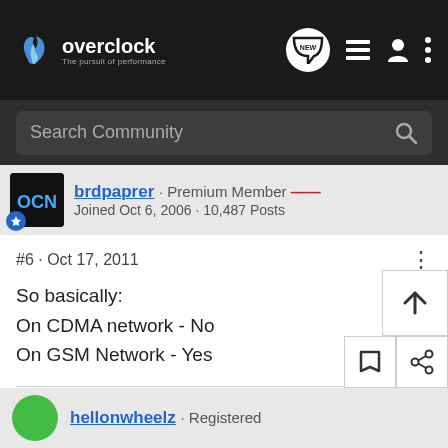overclock · The pursuit of performance
Search Community
brdpaprer · Premium Member · Joined Oct 6, 2006 · 10,487 Posts
#6 · Oct 17, 2011
So basically:
On CDMA network - No
On GSM Network - Yes
***Do you have questions about OEM Windows? Read this.***Why I
fold:
hellonwheelz · Registered